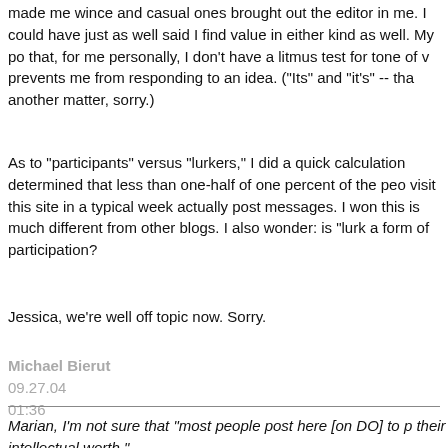made me wince and casual ones brought out the editor in me. I could have just as well said I find value in either kind as well. My point is that, for me personally, I don't have a litmus test for tone of voice that prevents me from responding to an idea. ("Its" and "it's" -- that's another matter, sorry.)
As to "participants" versus "lurkers," I did a quick calculation and determined that less than one-half of one percent of the people who visit this site in a typical week actually post messages. I wonder if this is much different from other blogs. I also wonder: is "lurking" a form of participation?
Jessica, we're well off topic now. Sorry.
Michael Bierut
09.27.04
01:36
Marian, I'm not sure that "most people post here [on DO] to prove their intellectual worth."